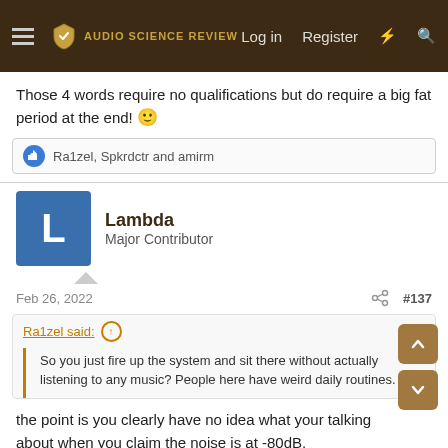Audio Science Review — Log in  Register
Those 4 words require no qualifications but do require a big fat period at the end! 🙂
Ra1zel, Spkrdctr and amirm
Lambda
Major Contributor
Feb 26, 2022  #137
Ra1zel said: ↑
So you just fire up the system and sit there without actually listening to any music? People here have weird daily routines.
the point is you clearly have no idea what your talking about when you claim the noise is at -80dB.
first you said:
Ra1zel said: ↑